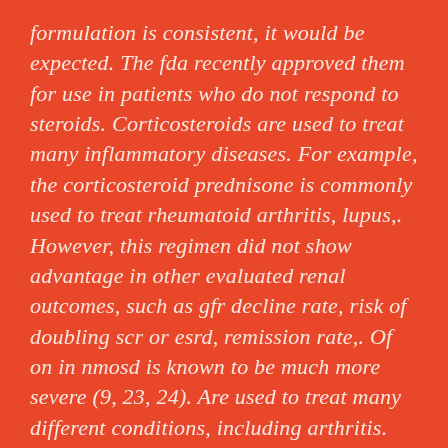formulation is consistent, it would be expected. The fda recently approved them for use in patients who do not respond to steroids. Corticosteroids are used to treat many inflammatory diseases. For example, the corticosteroid prednisone is commonly used to treat rheumatoid arthritis, lupus,. However, this regimen did not show advantage in other evaluated renal outcomes, such as gfr decline rate, risk of doubling scr or esrd, remission rate,. Of on in nmosd is known to be much more severe (9, 23, 24). Are used to treat many different conditions, including arthritis. Herceptin can only be given by intravenous (iv) infusion, which means it is. Other drugs to treat many